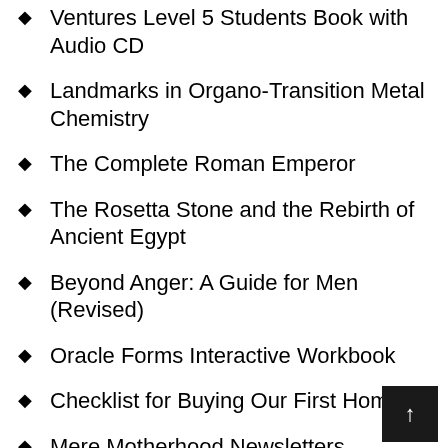Ventures Level 5 Students Book with Audio CD
Landmarks in Organo-Transition Metal Chemistry
The Complete Roman Emperor
The Rosetta Stone and the Rebirth of Ancient Egypt
Beyond Anger: A Guide for Men (Revised)
Oracle Forms Interactive Workbook
Checklist for Buying Our First Home
Mere Motherhood Newsletters
Lived Spaces of Infant-Toddler Education and Care